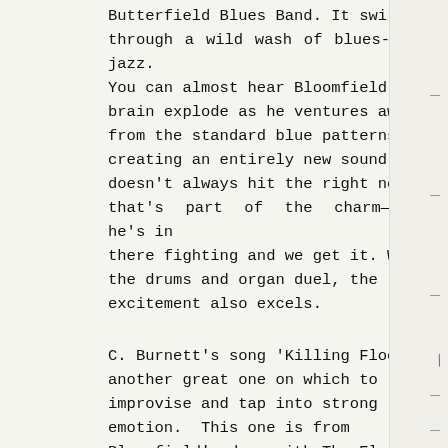Butterfield Blues Band. It swirls through a wild wash of blues-jazz. You can almost hear Bloomfield's brain explode as he ventures away from the standard blue patterns, creating an entirely new sound. He doesn't always hit the right note, but that's part of the charm—he's in there fighting and we get it. When the drums and organ duel, the excitement also excels.
C. Burnett's song 'Killing Floor' is another great one on which to improvise and tap into strong emotion. This one is from Bloomfield's days with The Electric Flag.
'Albert's Shuffle' is from Mike Bloomfield and Al Kooper's iconic 'Super Session' recorded in 1968. It